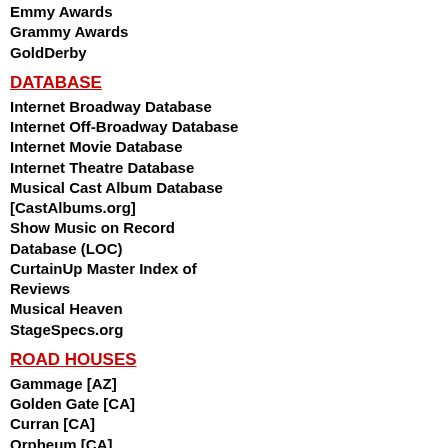Emmy Awards
Grammy Awards
GoldDerby
DATABASE
Internet Broadway Database
Internet Off-Broadway Database
Internet Movie Database
Internet Theatre Database
Musical Cast Album Database [CastAlbums.org]
Show Music on Record Database (LOC)
CurtainUp Master Index of Reviews
Musical Heaven
StageSpecs.org
ROAD HOUSES
Gammage [AZ]
Golden Gate [CA]
Curran [CA]
Orpheum [CA]
Community Center [CA]
Civic [CA]
Ahmanson [CA]
Pantages [CA]
Temple Hoyne Buell [CO]
Palace [CT]
Rich Forum [CT]
Shubert [CT]
Bushnell [CT]
[Figure (photo): Dark/black photo at top right of page]
This amazing bonnet was worn by the
[Figure (photo): Person in yellow costume with arms outstretched on a dark stage, text on costume reads AR/ISW]